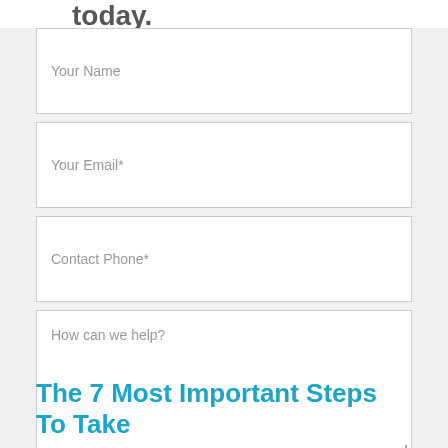today.
[Figure (other): Contact form with fields: Your Name, Your Email*, Contact Phone*, How can we help?, and a Send for Free Review button]
The 7 Most Important Steps To Take